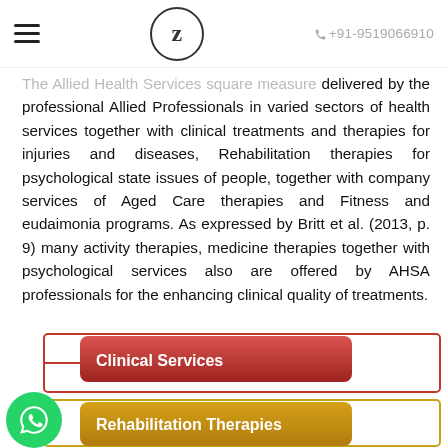Z | +91-9519066910
The Allied Health Services square measure delivered by the professional Allied Professionals in varied sectors of health services together with clinical treatments and therapies for injuries and diseases, Rehabilitation therapies for psychological state issues of people, together with company services of Aged Care therapies and Fitness and eudaimonia programs. As expressed by Britt et al. (2013, p. 9) many activity therapies, medicine therapies together with psychological services also are offered by AHSA professionals for the enhancing clinical quality of treatments.
[Figure (flowchart): Partial flowchart showing two categories: 'Clinical Services' (red rounded rectangle) and 'Rehabilitation Therapies' (orange/gold rounded rectangle), with red border outline boxes to the right, indicating sub-items or branches of a larger diagram.]